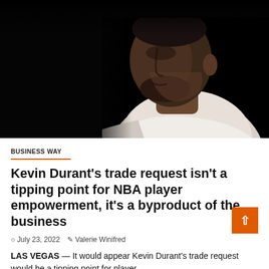[Figure (photo): Close-up photo of Kevin Durant in a white jersey against a dark/black background, shown in profile facing left]
BUSINESS WAY
Kevin Durant's trade request isn't a tipping point for NBA player empowerment, it's a byproduct of the business
July 23, 2022   Valerie Winifred
LAS VEGAS — It would appear Kevin Durant's trade request would be a tipping point for player